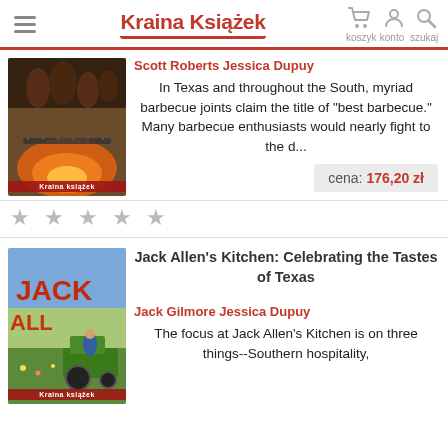Kraina Książek — koszyk konto szukaj
[Figure (photo): Book cover photo showing barbecue fire/grill scene with Kraina Książek watermark]
Scott Roberts Jessica Dupuy
In Texas and throughout the South, myriad barbecue joints claim the title of "best barbecue." Many barbecue enthusiasts would nearly fight to the d...
cena: 176,20 zł
[Figure (photo): Book cover for Jack Allen's Kitchen: Celebrating the Tastes of Texas with person on tractor and Kraina Książek watermark]
Jack Allen's Kitchen: Celebrating the Tastes of Texas
Jack Gilmore Jessica Dupuy
The focus at Jack Allen's Kitchen is on three things--Southern hospitality,